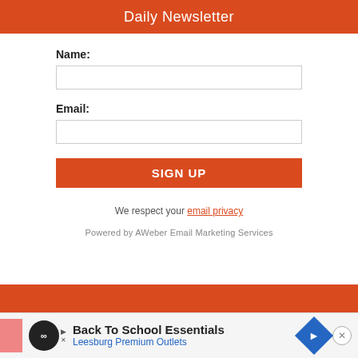Daily Newsletter
Name:
Email:
SIGN UP
We respect your email privacy
Powered by AWeber Email Marketing Services
[Figure (screenshot): Advertisement bar at bottom: Back To School Essentials - Leesburg Premium Outlets]
Back To School Essentials
Leesburg Premium Outlets